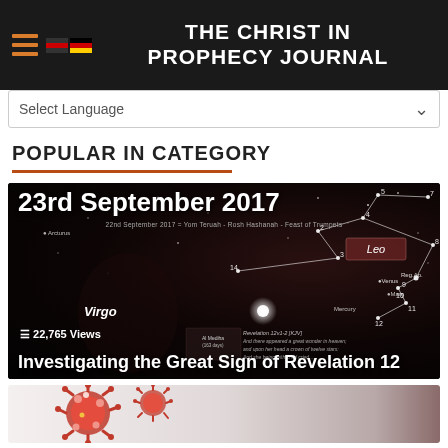THE CHRIST IN PROPHECY JOURNAL
Select Language
POPULAR IN CATEGORY
[Figure (illustration): Astronomical diagram showing 23rd September 2017 star alignment with Virgo and Leo constellations, with annotation '22nd September 2017 = Yom Teruah - Rosh Hashanah - Feast of Trumpets', stars labeled including Arcturus, Venus, Mars, Mercury, Regulus, and numbers 2-14 marking constellation points. Shows 22,765 Views. Title: Investigating the Great Sign of Revelation 12. Includes Revelation 12v1-2 KJV text overlay.]
[Figure (photo): Partial view of red coronavirus/virus particle illustration on light background]